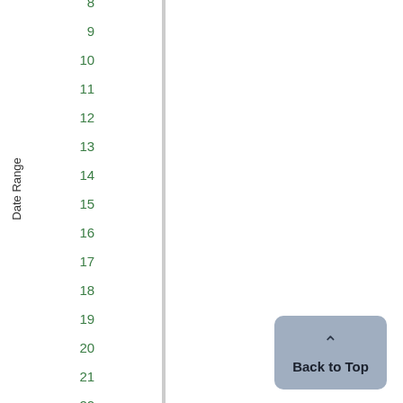| Date Range |  |
| --- | --- |
| 8 |  |
| 9 |  |
| 10 |  |
| 11 |  |
| 12 |  |
| 13 |  |
| 14 |  |
| 15 |  |
| 16 |  |
| 17 |  |
| 18 |  |
| 19 |  |
| 20 |  |
| 21 |  |
| 22 |  |
| 23 |  |
| 24 |  |
| 25 |  |
Back to Top